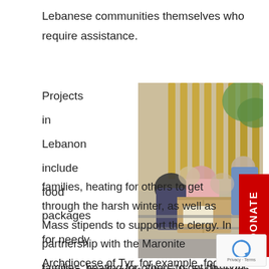Lebanese communities themselves who require assistance.
Projects in Lebanon include food packages for needy families, heating for others to get through the harsh winter, as well as Mass stipends to support the clergy. In partnership with the Maronite Archdiocese of Tyr, for example, food packages will be supplied to needy families for the next eight months.
[Figure (photo): People in masks passing large cardboard boxes through a gate or railing, distributing food packages outdoors.]
DONATE